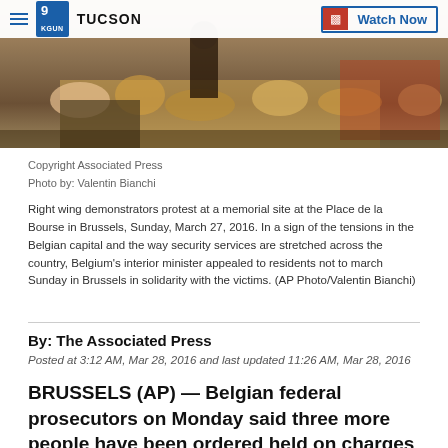9 News TUCSON | Watch Now
[Figure (photo): Flowers and memorial items at the Place de la Bourse in Brussels, with people visible in the background]
Copyright Associated Press
Photo by: Valentin Bianchi

Right wing demonstrators protest at a memorial site at the Place de la Bourse in Brussels, Sunday, March 27, 2016. In a sign of the tensions in the Belgian capital and the way security services are stretched across the country, Belgium's interior minister appealed to residents not to march Sunday in Brussels in solidarity with the victims. (AP Photo/Valentin Bianchi)
By: The Associated Press
Posted at 3:12 AM, Mar 28, 2016 and last updated 11:26 AM, Mar 28, 2016
BRUSSELS (AP) — Belgian federal prosecutors on Monday said three more people have been ordered held on charges of participating in terrorist activities.